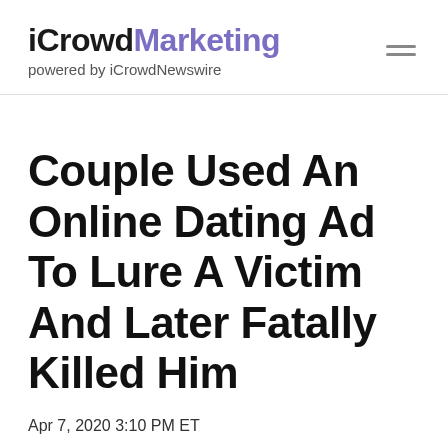iCrowdMarketing powered by iCrowdNewswire
Couple Used An Online Dating Ad To Lure A Victim And Later Fatally Killed Him
Apr 7, 2020 3:10 PM ET